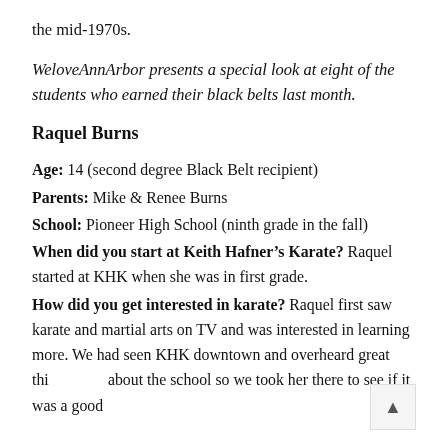the mid-1970s.
WeloveAnnArbor presents a special look at eight of the students who earned their black belts last month.
Raquel Burns
Age: 14 (second degree Black Belt recipient)
Parents: Mike & Renee Burns
School: Pioneer High School (ninth grade in the fall)
When did you start at Keith Hafner's Karate? Raquel started at KHK when she was in first grade.
How did you get interested in karate? Raquel first saw karate and martial arts on TV and was interested in learning more. We had seen KHK downtown and overheard great thi... about the school so we took her there to see if it was a good